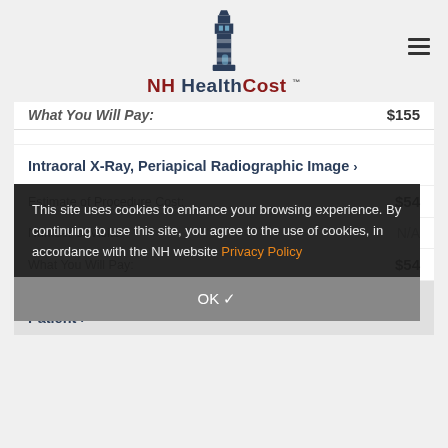NH HealthCost
What You Will Pay:  $155
Intraoral X-Ray, Periapical Radiographic Image ›
|  |  |
| --- | --- |
| Estimate of Procedure Cost: | $54 |
| Number of Visits: | N/A |
| What You Will Pay: | $54 |
This site uses cookies to enhance your browsing experience. By continuing to use this site, you agree to the use of cookies, in accordance with the NH website Privacy Policy
OK ✓
Periodic Dental Exam for an Established Patient ›